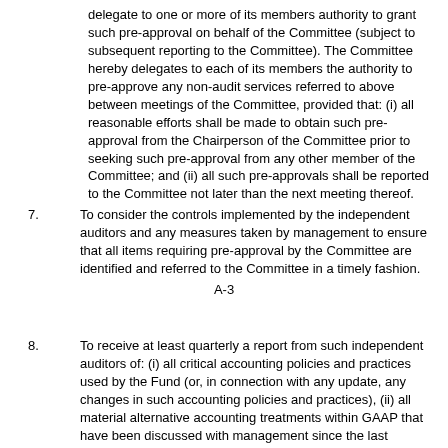delegate to one or more of its members authority to grant such pre-approval on behalf of the Committee (subject to subsequent reporting to the Committee). The Committee hereby delegates to each of its members the authority to pre-approve any non-audit services referred to above between meetings of the Committee, provided that: (i) all reasonable efforts shall be made to obtain such pre-approval from the Chairperson of the Committee prior to seeking such pre-approval from any other member of the Committee; and (ii) all such pre-approvals shall be reported to the Committee not later than the next meeting thereof.
7. To consider the controls implemented by the independent auditors and any measures taken by management to ensure that all items requiring pre-approval by the Committee are identified and referred to the Committee in a timely fashion.
A-3
8. To receive at least quarterly a report from such independent auditors of: (i) all critical accounting policies and practices used by the Fund (or, in connection with any update, any changes in such accounting policies and practices), (ii) all material alternative accounting treatments within GAAP that have been discussed with management since the last annual report or update, including the ramifications of the use of the alternative treatments and the treatment preferred by the accounting firm, (iii) other material written communications between the independent auditors and the management of